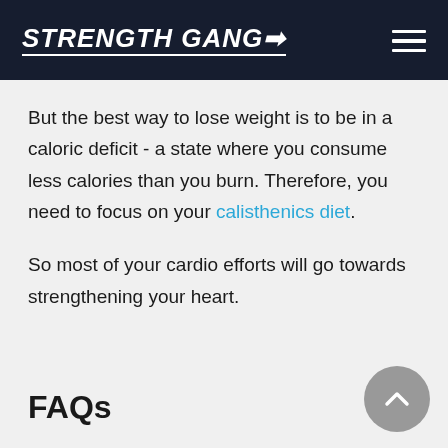STRENGTH GANG
But the best way to lose weight is to be in a caloric deficit - a state where you consume less calories than you burn. Therefore, you need to focus on your calisthenics diet.
So most of your cardio efforts will go towards strengthening your heart.
FAQs